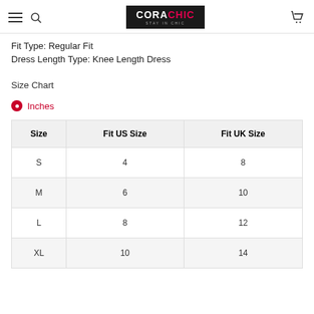CORACHIC - STAY IN CHIC
Fit Type: Regular Fit
Dress Length Type: Knee Length Dress
Size Chart
Inches
| Size | Fit US Size | Fit UK Size |
| --- | --- | --- |
| S | 4 | 8 |
| M | 6 | 10 |
| L | 8 | 12 |
| XL | 10 | 14 |